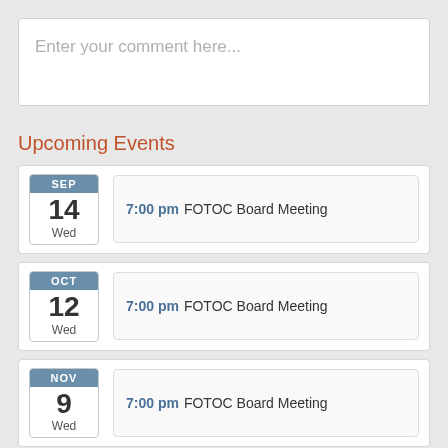Enter your comment here...
Upcoming Events
SEP 14 Wed — 7:00 pm FOTOC Board Meeting
OCT 12 Wed — 7:00 pm FOTOC Board Meeting
NOV 9 Wed — 7:00 pm FOTOC Board Meeting
DEC 14 — 7:00 pm FOTOC Board Meeting